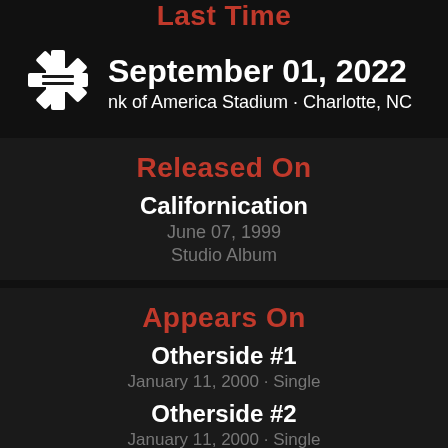Last Time
[Figure (logo): Red Hot Chili Peppers asterisk/snowflake logo in white]
September 01, 2022
Bank of America Stadium · Charlotte, NC
Released On
Californication
June 07, 1999
Studio Album
Appears On
Otherside #1
January 11, 2000 · Single
Otherside #2
January 11, 2000 · Single